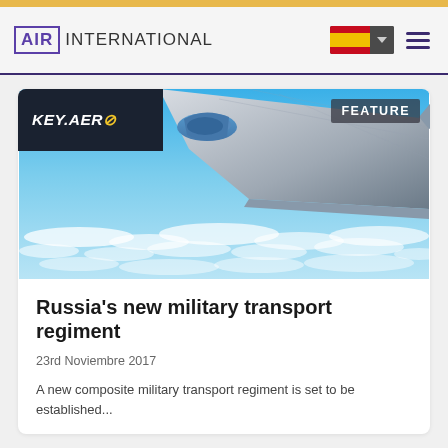AIR INTERNATIONAL
[Figure (screenshot): Aerial photo of airplane wing over clouds and blue sky with KEY.AERO logo badge and FEATURE label in top corners]
Russia's new military transport regiment
23rd Noviembre 2017
A new composite military transport regiment is set to be established...